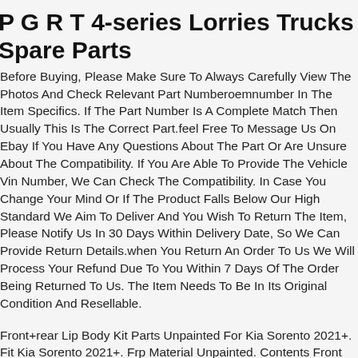P G R T 4-series Lorries Trucks Spare Parts
Before Buying, Please Make Sure To Always Carefully View The Photos And Check Relevant Part Numberoemnumber In The Item Specifics. If The Part Number Is A Complete Match Then Usually This Is The Correct Part.feel Free To Message Us On Ebay If You Have Any Questions About The Part Or Are Unsure About The Compatibility. If You Are Able To Provide The Vehicle Vin Number, We Can Check The Compatibility. In Case You Change Your Mind Or If The Product Falls Below Our High Standard We Aim To Deliver And You Wish To Return The Item, Please Notify Us In 30 Days Within Delivery Date, So We Can Provide Return Details.when You Return An Order To Us We Will Process Your Refund Due To You Within 7 Days Of The Order Being Returned To Us. The Item Needs To Be In Its Original Condition And Resellable.
Front+rear Lip Body Kit Parts Unpainted For Kia Sorento 2021+. Fit Kia Sorento 2021+. Frp Material Unpainted. Contents Front